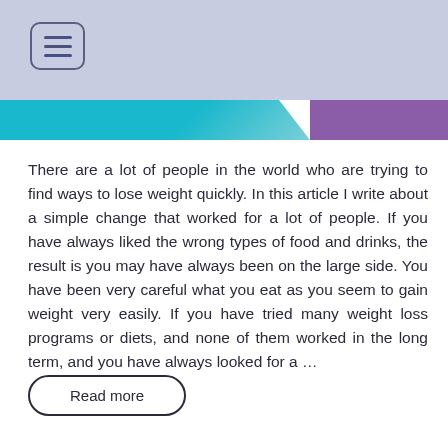[Figure (other): Light blue-purple header bar with hamburger menu icon button (three horizontal lines inside a rounded rectangle border)]
[Figure (other): Decorative banner with teal/cyan section on the left and purple section on the right]
There are a lot of people in the world who are trying to find ways to lose weight quickly. In this article I write about a simple change that worked for a lot of people. If you have always liked the wrong types of food and drinks, the result is you may have always been on the large side. You have been very careful what you eat as you seem to gain weight very easily. If you have tried many weight loss programs or diets, and none of them worked in the long term, and you have always looked for a …
Read more